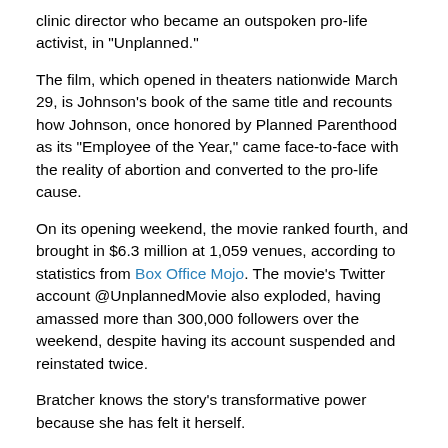clinic director who became an outspoken pro-life activist, in “Unplanned.”
The film, which opened in theaters nationwide March 29, is Johnson’s book of the same title and recounts how Johnson, once honored by Planned Parenthood as its “Employee of the Year,” came face-to-face with the reality of abortion and converted to the pro-life cause.
On its opening weekend, the movie ranked fourth, and brought in $6.3 million at 1,059 venues, according to statistics from Box Office Mojo. The movie’s Twitter account @UnplannedMovie also exploded, having amassed more than 300,000 followers over the weekend, despite having its account suspended and reinstated twice.
Bratcher knows the story’s transformative power because she has felt it herself.
Though she auditioned for the role without even knowing that Johnson was a real person and not the fictional creation of a screenwriter, Bratcher later went home and did some research online. She watched a video of Johnson sharing her story and, she said, it “shook me to my core.”
Bratcher had identified as pro-life, but admits that she had been